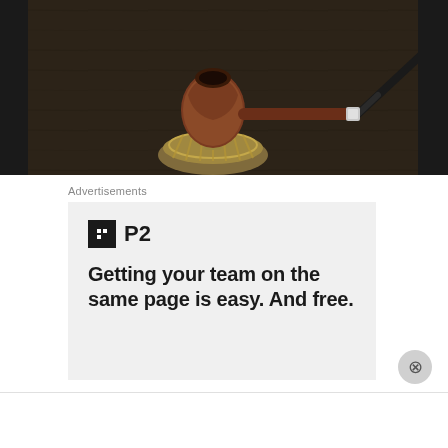[Figure (photo): A decorative briar tobacco smoking pipe resting on an ornate silver/brass pipe stand, photographed on a dark wooden surface. The pipe has detailed carved texture on the bowl and a dark stem.]
Advertisements
[Figure (screenshot): P2 advertisement with dark logo icon and text 'Getting your team on the same page is easy. And free.']
Advertisements
[Figure (screenshot): Pressable advertisement: 'The Platform Where WordPress Works Best' with Pressable logo on the right.]